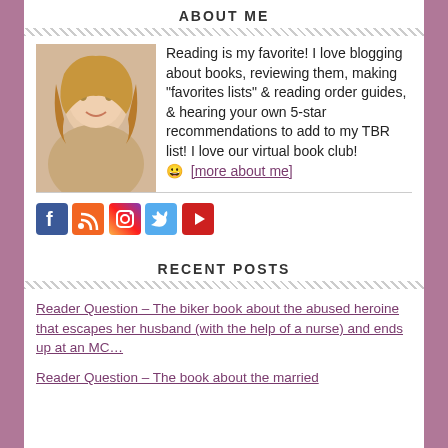ABOUT ME
[Figure (photo): Portrait photo of a smiling blonde woman]
Reading is my favorite! I love blogging about books, reviewing them, making "favorites lists" & reading order guides, & hearing your own 5-star recommendations to add to my TBR list! I love our virtual book club! 😀  [more about me]
[Figure (infographic): Row of social media icons: Facebook, RSS, Instagram, Twitter, YouTube]
RECENT POSTS
Reader Question – The biker book about the abused heroine that escapes her husband (with the help of a nurse) and ends up at an MC…
Reader Question – The book about the married